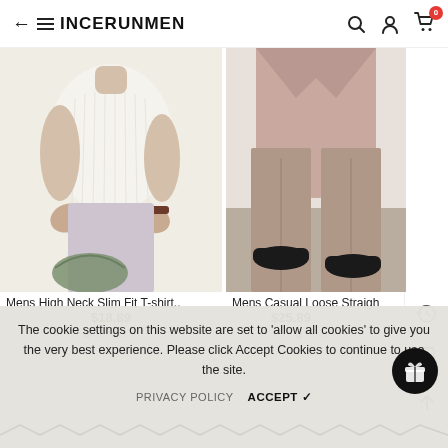INCERUNMEN
[Figure (photo): Man in white ribbed t-shirt holding a dark green hat behind his back, wearing light grey trousers]
[Figure (photo): Lower body of person wearing a pink/mauve suit jacket and loose straight leg trousers with black shoes]
Mens High Neck Slim Fit T-shirt..
$18.89
Mens Casual Loose Straigh
$25.89
The cookie settings on this website are set to 'allow all cookies' to give you the very best experience. Please click Accept Cookies to continue to use the site.
PRIVACY POLICY   ACCEPT ✓